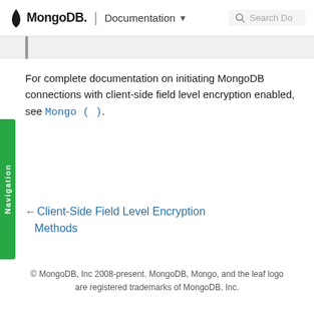MongoDB. | Documentation  Search Do
For complete documentation on initiating MongoDB connections with client-side field level encryption enabled, see Mongo().
← Client-Side Field Level Encryption Methods
© MongoDB, Inc 2008-present. MongoDB, Mongo, and the leaf logo are registered trademarks of MongoDB, Inc.